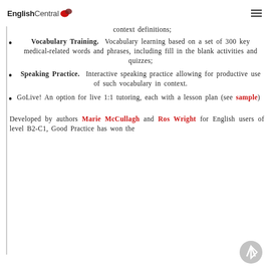EnglishCentral ☰
context definitions;
Vocabulary Training. Vocabulary learning based on a set of 300 key medical-related words and phrases, including fill in the blank activities and quizzes;
Speaking Practice. Interactive speaking practice allowing for productive use of such vocabulary in context.
GoLive! An option for live 1:1 tutoring, each with a lesson plan (see sample)
Developed by authors Marie McCullagh and Ros Wright for English users of level B2-C1, Good Practice has won the